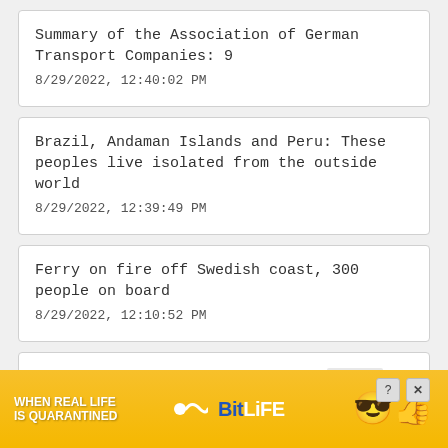Summary of the Association of German Transport Companies: 9
8/29/2022, 12:40:02 PM
Brazil, Andaman Islands and Peru: These peoples live isolated from the outside world
8/29/2022, 12:39:49 PM
Ferry on fire off Swedish coast, 300 people on board
8/29/2022, 12:10:52 PM
“Friends see me as a big mouth, good or bad”: a comedian kills himself
8/29/2022, [partial]
[Figure (screenshot): Advertisement overlay: 'When Real Life Is Quarantined' BitLife app ad with emoji mascot, Close X button, info and close buttons]